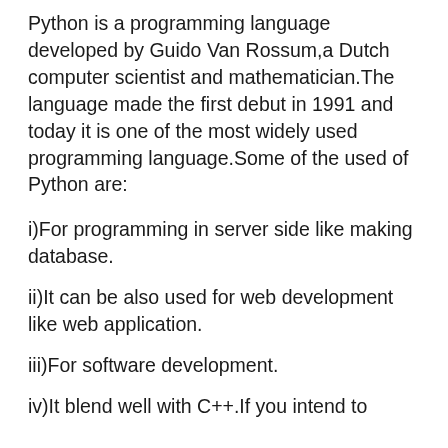Python is a programming language developed by Guido Van Rossum,a Dutch computer scientist and mathematician.The language made the first debut in 1991 and today it is one of the most widely used programming language.Some of the used of Python are:
i)For programming in server side like making database.
ii)It can be also used for web development like web application.
iii)For software development.
iv)It blend well with C++.If you intend to